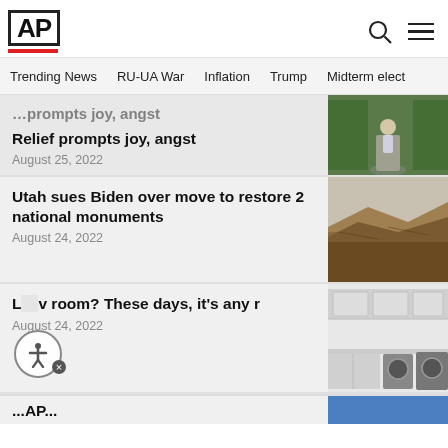AP
Trending News | RU-UA War | Inflation | Trump | Midterm elect
Relief prompts joy, angst
August 25, 2022
[Figure (photo): Person standing on a path outdoors with greenery in background]
Utah sues Biden over move to restore 2 national monuments
August 24, 2022
[Figure (photo): Rocky terrain landscape photo]
L... v room? These days, it's any r...
August 24, 2022
[Figure (photo): Modern kitchen interior with white cabinets and appliances]
...AP...